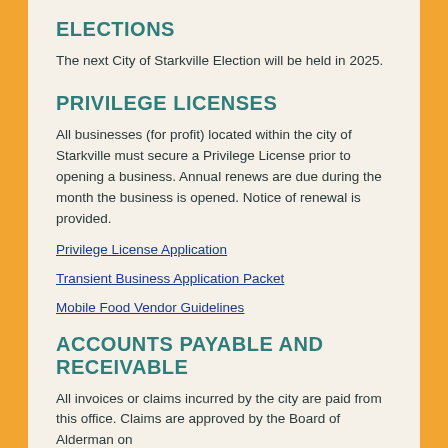ELECTIONS
The next City of Starkville Election will be held in 2025.
PRIVILEGE LICENSES
All businesses (for profit) located within the city of Starkville must secure a Privilege License prior to opening a business. Annual renews are due during the month the business is opened. Notice of renewal is provided.
Privilege License Application
Transient Business Application Packet
Mobile Food Vendor Guidelines
ACCOUNTS PAYABLE AND RECEIVABLE
All invoices or claims incurred by the city are paid from this office. Claims are approved by the Board of Alderman on